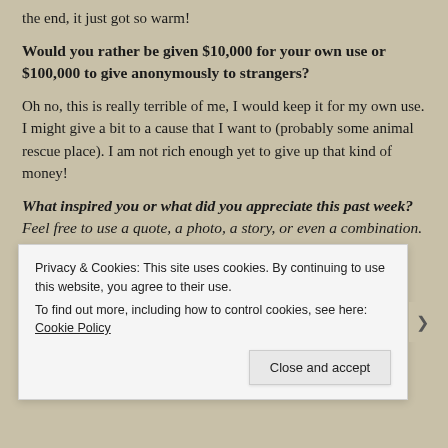the end, it just got so warm!
Would you rather be given $10,000 for your own use or $100,000 to give anonymously to strangers?
Oh no, this is really terrible of me, I would keep it for my own use. I might give a bit to a cause that I want to (probably some animal rescue place). I am not rich enough yet to give up that kind of money!
What inspired you or what did you appreciate this past week?  Feel free to use a quote, a photo, a story, or even a combination.
Privacy & Cookies: This site uses cookies. By continuing to use this website, you agree to their use.
To find out more, including how to control cookies, see here: Cookie Policy
Close and accept